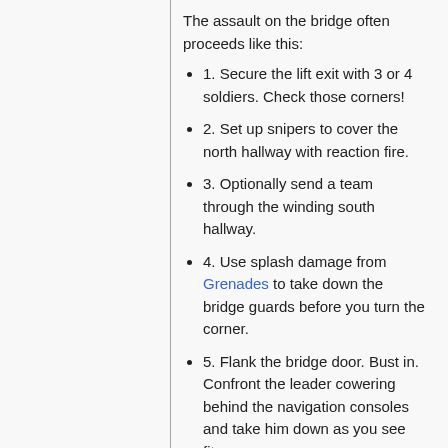The assault on the bridge often proceeds like this:
1. Secure the lift exit with 3 or 4 soldiers. Check those corners!
2. Set up snipers to cover the north hallway with reaction fire.
3. Optionally send a team through the winding south hallway.
4. Use splash damage from Grenades to take down the bridge guards before you turn the corner.
5. Flank the bridge door. Bust in. Confront the leader cowering behind the navigation consoles and take him down as you see fit.
Alternatively, cut through the bridge's walls with a Heavy Plasma (see Destroying Terrain).